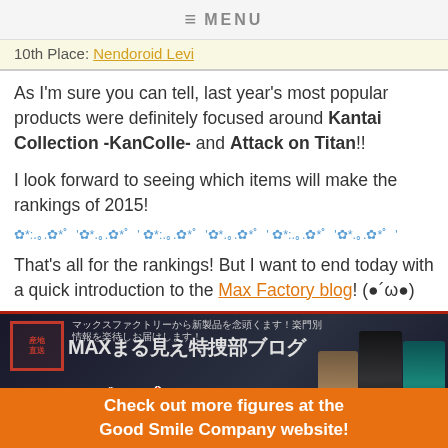≡ MENU
10th Place: Nendoroid Levi
As I'm sure you can tell, last year's most popular products were definitely focused around Kantai Collection -KanColle- and Attack on Titan!!
I look forward to seeing which items will make the rankings of 2015!
✿*:.｡.✿*゜'✿*.｡.✿*゜' ✿*:.｡.✿*゜'✿*.｡.✿*゜' ✿*:.｡.✿*゜'✿*.｡.✿*゜'
That's all for the rankings! But I want to end today with a quick introduction to the Max Factory blog! (●´ω●)
[Figure (photo): Max Factory blog banner image with Japanese text MAXまる見え特捜部ブログ and anime figures]
Check out more figures at the Good Smile Company website!